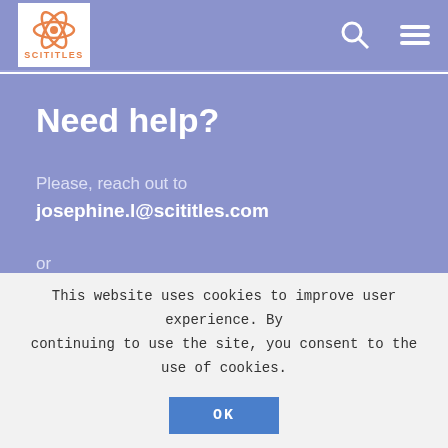SCITITLES — navigation bar with logo, search icon, and menu icon
Need help?
Please, reach out to josephine.l@scititles.com
or
visit this page https://scititles.com/contact/
This website uses cookies to improve user experience. By continuing to use the site, you consent to the use of cookies.